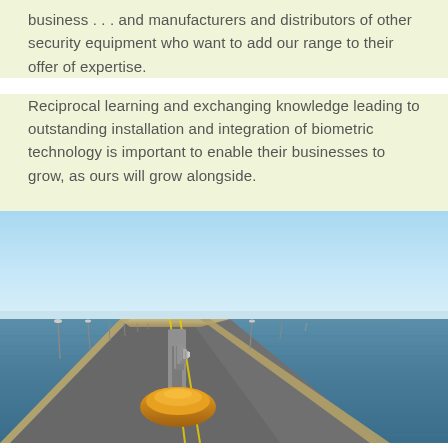business... and manufacturers and distributors of other security equipment who want to add our range to their offer of expertise.
Reciprocal learning and exchanging knowledge leading to outstanding installation and integration of biometric technology is important to enable their businesses to grow, as ours will grow alongside.
[Figure (photo): Aerial perspective photo of a long bridge extending over open ocean water toward the horizon under a clear blue sky. The bridge has concrete pylons and a roadway with yellow lane markings. In the foreground, a large orange buoy or float is visible at the base of a pylon.]